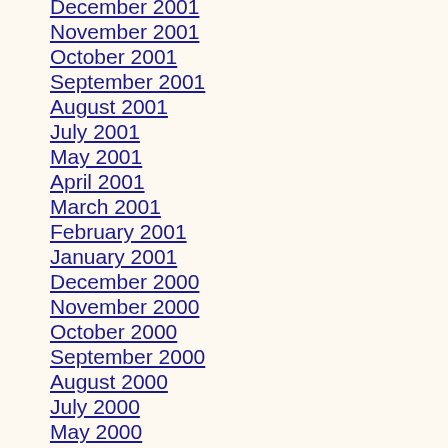December 2001
November 2001
October 2001
September 2001
August 2001
July 2001
May 2001
April 2001
March 2001
February 2001
January 2001
December 2000
November 2000
October 2000
September 2000
August 2000
July 2000
May 2000
April 2000